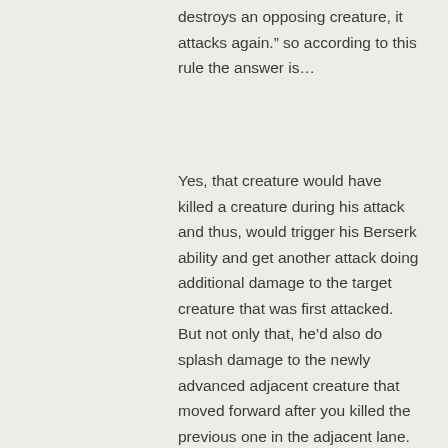destroys an opposing creature, it attacks again.” so according to this rule the answer is…
Yes, that creature would have killed a creature during his attack and thus, would trigger his Berserk ability and get another attack doing additional damage to the target creature that was first attacked. But not only that, he’d also do splash damage to the newly advanced adjacent creature that moved forward after you killed the previous one in the adjacent lane.